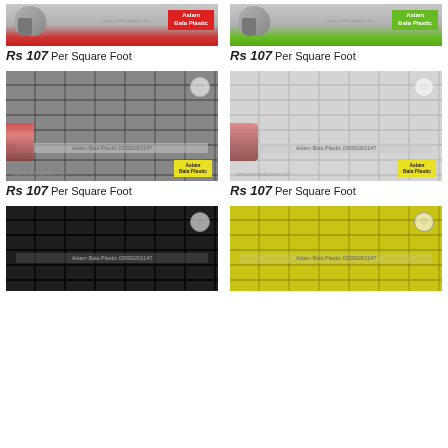[Figure (photo): Brick foam wallpaper panel with red brand banner - Aslam Bala Plastic, cropped top]
[Figure (photo): Brick foam wallpaper panel with green brand banner - Aslam Bala Plastic, cropped top]
Rs 107 Per Square Foot
Rs 107 Per Square Foot
[Figure (photo): Gray 3D brick foam wallpaper panel product image with Aslam Bala Plastic watermark and yellow brand label]
[Figure (photo): White 3D brick foam wallpaper panel product image with Aslam Bala Plastic watermark and yellow brand label]
Rs 107 Per Square Foot
Rs 107 Per Square Foot
[Figure (photo): Black 3D brick foam wallpaper panel product image with Aslam Bala Plastic watermark, partially shown]
[Figure (photo): Yellow 3D brick foam wallpaper panel product image with Aslam Bala Plastic watermark, partially shown]